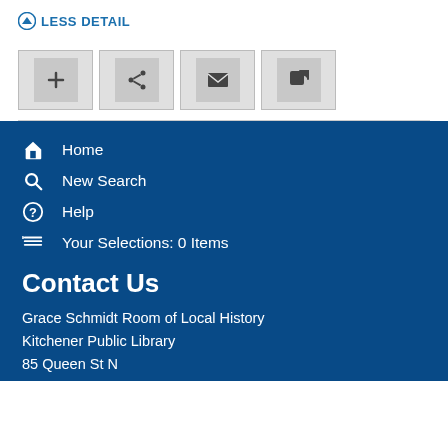LESS DETAIL
[Figure (screenshot): Toolbar with four icon buttons: plus (add), share, email, and external link]
Home
New Search
Help
Your Selections: 0 Items
Contact Us
Grace Schmidt Room of Local History
Kitchener Public Library
85 Queen St N
Kitchener, ON N2H 2H1